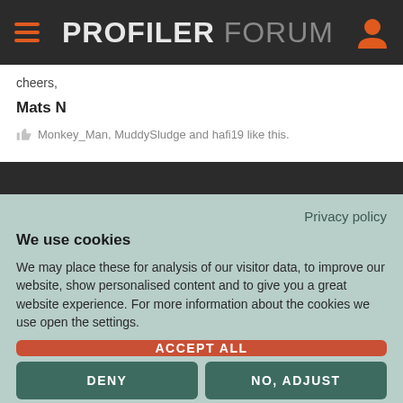PROFILER FORUM
cheers,
Mats N
Monkey_Man, MuddySludge and hafi19 like this.
Privacy policy
We use cookies
We may place these for analysis of our visitor data, to improve our website, show personalised content and to give you a great website experience. For more information about the cookies we use open the settings.
ACCEPT ALL
DENY
NO, ADJUST